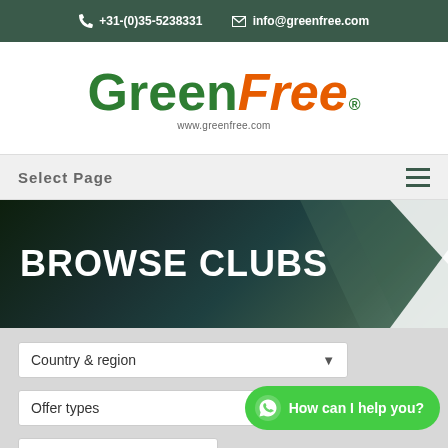+31-(0)35-5238331  info@greenfree.com
[Figure (logo): GreenFree logo with green 'Green' and orange italic 'Free' text, www.greenfree.com URL below]
Select Page
BROWSE CLUBS
Country & region
Offer types
How can I help you?
Offers valid on day